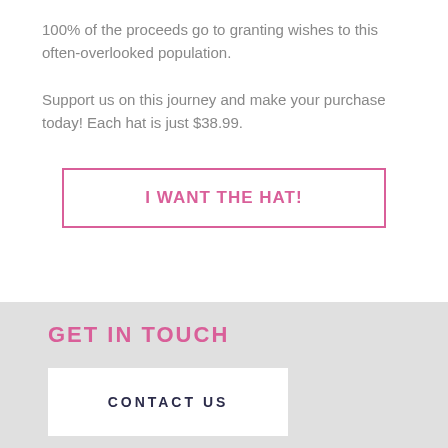100% of the proceeds go to granting wishes to this often-overlooked population. Support us on this journey and make your purchase today! Each hat is just $38.99.
I WANT THE HAT!
GET IN TOUCH
CONTACT US